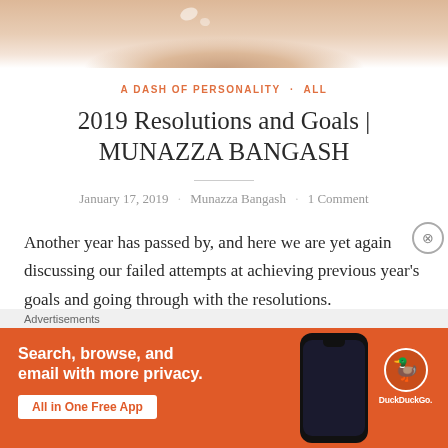[Figure (photo): Top portion of food/beauty image with peach/cream colored background, partially cropped]
A DASH OF PERSONALITY · ALL
2019 Resolutions and Goals | MUNAZZA BANGASH
January 17, 2019 · Munazza Bangash · 1 Comment
Another year has passed by, and here we are yet again discussing our failed attempts at achieving previous year's goals and going through with the resolutions.
[Figure (screenshot): DuckDuckGo advertisement banner: Search, browse, and email with more privacy. All in One Free App. Shows DuckDuckGo logo and phone graphic on orange background.]